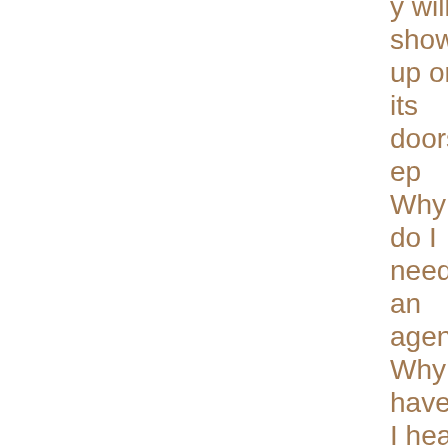will show up on its doorstep Why do I need an agent? Why haven't I heard back yet? Why might I consid